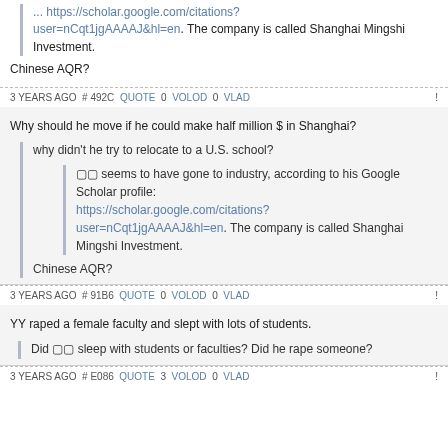... https://scholar.google.com/citations?user=nCqt1jgAAAAJ&hl=en. The company is called Shanghai Mingshi Investment.
Chinese AQR?
3 YEARS AGO # 492C QUOTE 0 VOLOD 0 VLAD !
Why should he move if he could make half million $ in Shanghai?
why didn't he try to relocate to a U.S. school?
🔲🔲 seems to have gone to industry, according to his Google Scholar profile: https://scholar.google.com/citations?user=nCqt1jgAAAAJ&hl=en. The company is called Shanghai Mingshi Investment.
Chinese AQR?
3 YEARS AGO # 91B6 QUOTE 0 VOLOD 0 VLAD !
YY raped a female faculty and slept with lots of students.
Did 🔲🔲 sleep with students or faculties? Did he rape someone?
3 YEARS AGO # E086 QUOTE 3 VOLOD 0 VLAD !